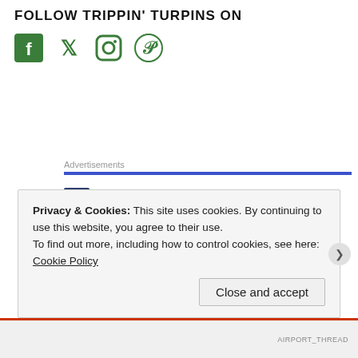FOLLOW TRIPPIN' TURPINS ON
[Figure (illustration): Social media icons: Facebook, Twitter, Instagram, Pinterest — all in green]
Advertisements
[Figure (logo): Pressable logo — dark blue square with P and Pressable text, followed by dots]
Privacy & Cookies: This site uses cookies. By continuing to use this website, you agree to their use.
To find out more, including how to control cookies, see here: Cookie Policy
Close and accept